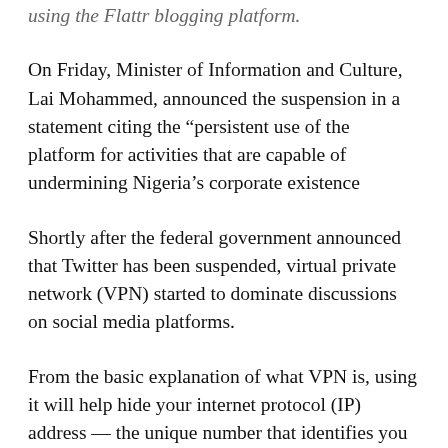using the Flattr blogging platform.
On Friday, Minister of Information and Culture, Lai Mohammed, announced the suspension in a statement citing the “persistent use of the platform for activities that are capable of undermining Nigeria’s corporate existence
Shortly after the federal government announced that Twitter has been suspended, virtual private network (VPN) started to dominate discussions on social media platforms.
From the basic explanation of what VPN is, using it will help hide your internet protocol (IP) address — the unique number that identifies you and your location in the world.
One of the benefits of using VPN is that it changes your IP address. This implies that with a new IP address